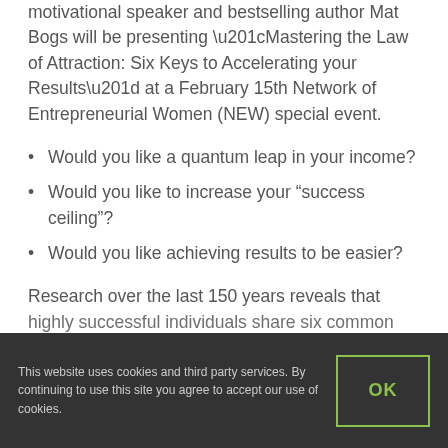motivational speaker and bestselling author Mat Bogs will be presenting “Mastering the Law of Attraction: Six Keys to Accelerating your Results” at a February 15th Network of Entrepreneurial Women (NEW) special event.
Would you like a quantum leap in your income?
Would you like to increase your “success ceiling”?
Would you like achieving results to be easier?
Research over the last 150 years reveals that highly successful individuals share six common
This website uses cookies and third party services. By continuing to use this site you agree to accept our use of cookies.